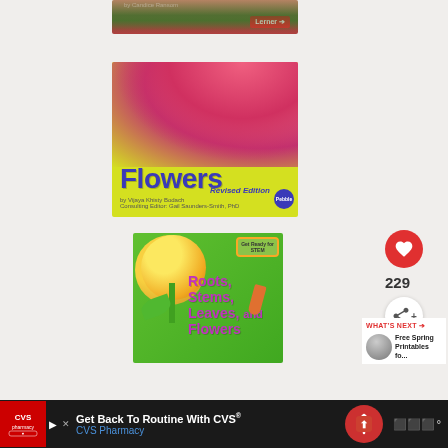[Figure (photo): Partial view of a children's book cover with flowers and 'by Candice Ransom' text, Lerner publisher logo]
[Figure (photo): Children's book cover titled 'Flowers' by Vijaya Khisty Bodach, Revised Edition, Pebble publisher, yellow background with pink gerbera daisy]
[Figure (photo): Children's book cover titled 'Roots, Stems, Leaves, and Flowers' with sunflower image on green background, STEM badge]
[Figure (screenshot): Website UI elements: heart/like button with count 229, share button, WHAT'S NEXT section linking to 'Free Spring Printables fo...']
[Figure (screenshot): CVS Pharmacy advertisement banner: 'Get Back To Routine With CVS® CVS Pharmacy']